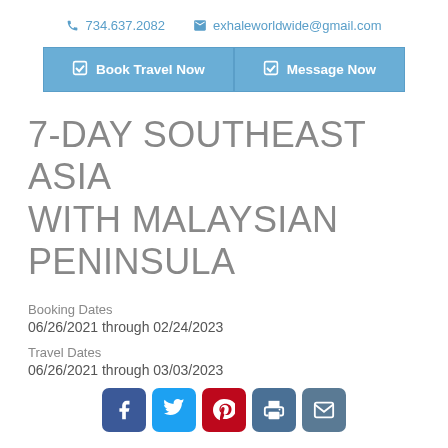734.637.2082   exhaleworldwide@gmail.com
Book Travel Now   Message Now
7-DAY SOUTHEAST ASIA WITH MALAYSIAN PENINSULA
Booking Dates
06/26/2021 through 02/24/2023
Travel Dates
06/26/2021 through 03/03/2023
[Figure (other): Social media share buttons: Facebook, Twitter, Pinterest, Print, Email]